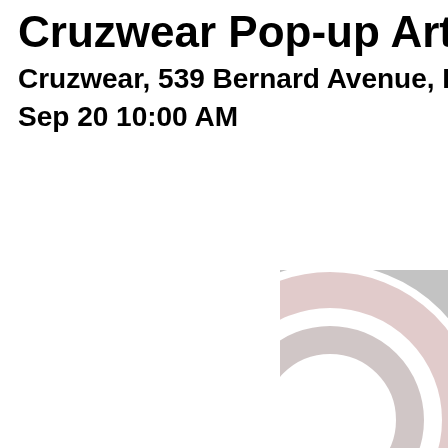Cruzwear Pop-up Art Ga
Cruzwear, 539 Bernard Avenue, Ke
Sep 20 10:00 AM
[Figure (logo): Cruzwear logo: a large circular C-shaped emblem with concentric rings in grey and pinkish-rose tones, partially cropped at the bottom-right of the page]